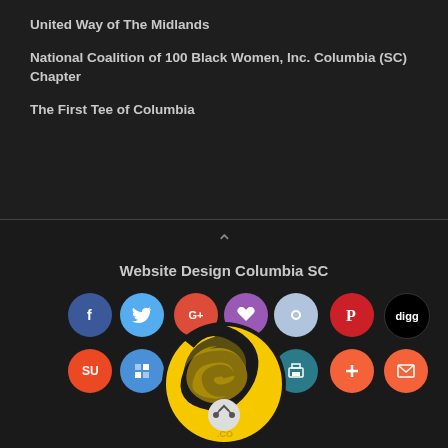United Way of The Midlands
National Coalition of 100 Black Women, Inc. Columbia (SC) Chapter
The First Tee of Columbia
Website Design Columbia SC
[Figure (logo): Website design company logo — yellow and black swoosh emblem with social media sharing buttons arranged around it including Facebook, Twitter, Google+, heart/like, share, Pinterest, Digg, StumbleUpon, square share, edit/pen, LinkedIn, print, plus, email, and a central share button.]